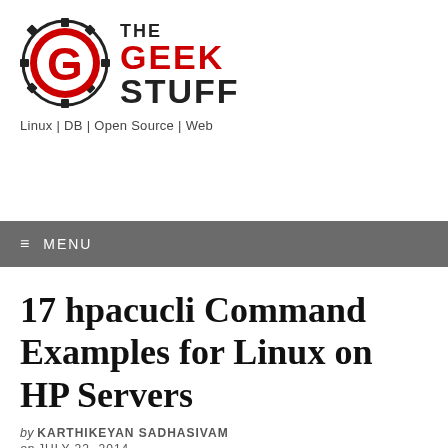[Figure (logo): The Geek Stuff logo with red G circle and bold text THE GEEK STUFF]
Linux | DB | Open Source | Web
≡ MENU
17 hpacucli Command Examples for Linux on HP Servers
by KARTHIKEYAN SADHASIVAM
on JULY 22, 2014